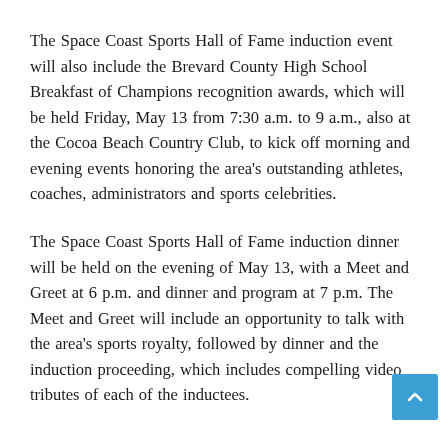The Space Coast Sports Hall of Fame induction event will also include the Brevard County High School Breakfast of Champions recognition awards, which will be held Friday, May 13 from 7:30 a.m. to 9 a.m., also at the Cocoa Beach Country Club, to kick off morning and evening events honoring the area’s outstanding athletes, coaches, administrators and sports celebrities.
The Space Coast Sports Hall of Fame induction dinner will be held on the evening of May 13, with a Meet and Greet at 6 p.m. and dinner and program at 7 p.m. The Meet and Greet will include an opportunity to talk with the area’s sports royalty, followed by dinner and the induction proceeding, which includes compelling video tributes of each of the inductees.